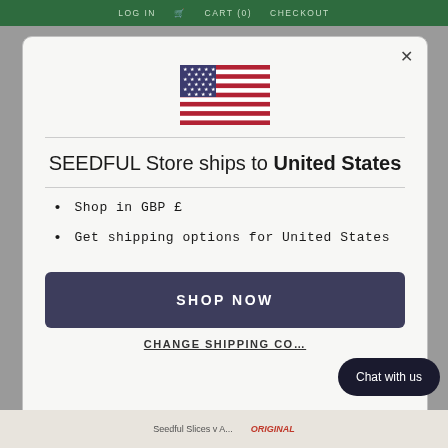LOG IN   CART (0)   CHECKOUT
[Figure (illustration): US flag emoji / icon]
SEEDFUL Store ships to United States
Shop in GBP £
Get shipping options for United States
SHOP NOW
CHANGE SHIPPING CO...
Chat with us
Seedful Slices v A... ORIGINAL